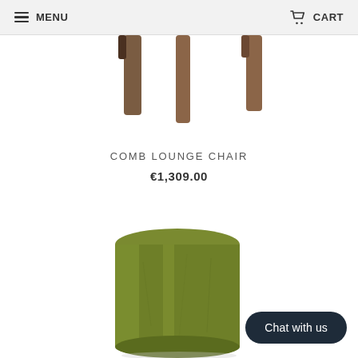MENU   CART
[Figure (photo): Cropped top-down view of wooden chair legs against white background]
COMB LOUNGE CHAIR
€1,309.00
[Figure (photo): Olive green cylindrical ceramic stool or side table on white background]
Chat with us